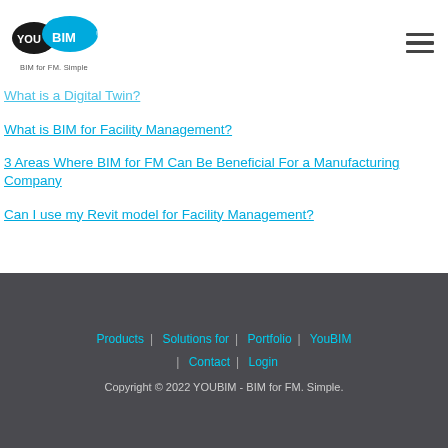[Figure (logo): YouBIM logo with black and cyan cloud shapes, text 'BIM for FM. Simple' below]
What is a Digital Twin?
What is BIM for Facility Management?
3 Areas Where BIM for FM Can Be Beneficial For a Manufacturing Company
Can I use my Revit model for Facility Management?
Products | Solutions for | Portfolio | YouBIM | Contact | Login
Copyright © 2022 YOUBIM - BIM for FM. Simple.